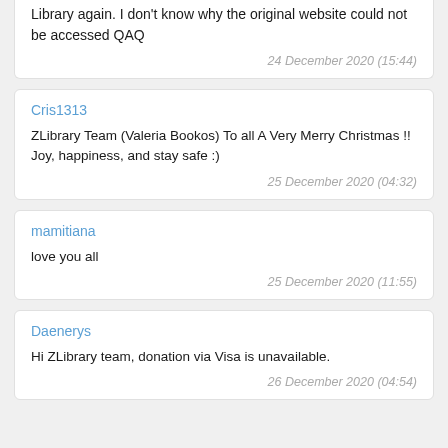Library again. I don't know why the original website could not be accessed QAQ
24 December 2020 (15:44)
Cris1313
ZLibrary Team (Valeria Bookos) To all A Very Merry Christmas !! Joy, happiness, and stay safe :)
25 December 2020 (04:32)
mamitiana
love you all
25 December 2020 (11:55)
Daenerys
Hi ZLibrary team, donation via Visa is unavailable.
26 December 2020 (04:54)